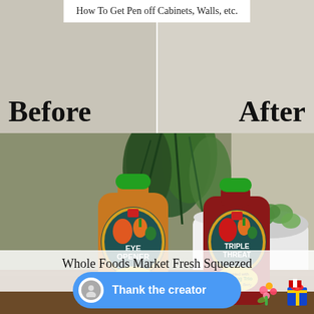How To Get Pen off Cabinets, Walls, etc.
Before
After
[Figure (photo): Two juice bottles with green caps — one labeled 'Eye Opener' and one labeled 'Triple Threat' — placed on a wooden surface in front of green houseplants and a white planter, near a bright window.]
Whole Foods Market Fresh Squeezed Juice
Thank the creator